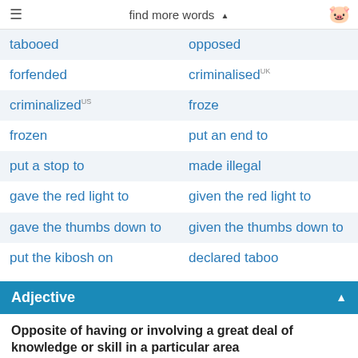find more words ▲
| tabooed | opposed |
| forfended | criminalisedᵁᵏ |
| criminalizedᵘˢ | froze |
| frozen | put an end to |
| put a stop to | made illegal |
| gave the red light to | given the red light to |
| gave the thumbs down to | given the thumbs down to |
| put the kibosh on | declared taboo |
Adjective
Opposite of having or involving a great deal of knowledge or skill in a particular area
| inexpert | amateur |
| amateurish | inexperienced |